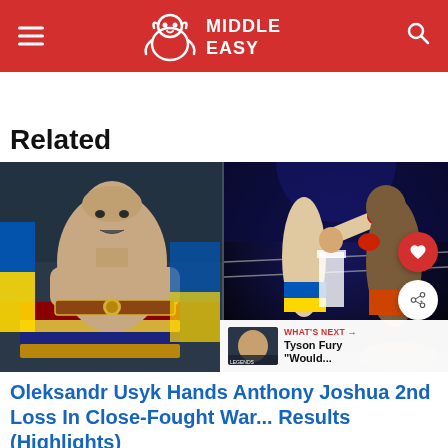Middle Easy
Related
[Figure (photo): Composite image: left side shows Oleksandr Usyk posing with championship belts wrapped in Ukrainian flag; right side shows boxing action with Usyk landing a punch on Anthony Joshua who is falling to the canvas]
WHAT'S NEXT → Tyson Fury "Would...
Oleksandr Usyk Hands Anthony Joshua 2nd Loss In Close-Fought War... Results (Highlights)